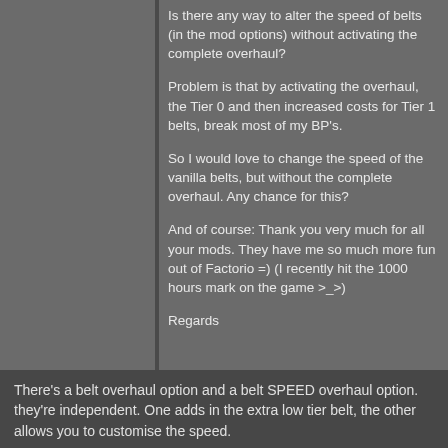Is there any way to alter the speed of belts (in the mod options) without activating the complete overhaul?

Problem is that by activating the overhaul, the Tier 0 and then increased costs for Tier 1 belts, break most of my BP's.

So I would love to change the speed of the vanilla belts, but without the complete overhaul. Any chance for this?

And of course: Thank you very much for all your mods. They have me so much more fun out of Factorio =) (I recently hit the 1000 hours mark on the game >_>)

Regards
There's a belt overhaul option and a belt SPEED overhaul option. they're independent. One adds in the extra low tier belt, the other allows you to customise the speed.
Creator of Bob's mods. Expanding your gameplay since version 0.9.8. I also have a Patreon.